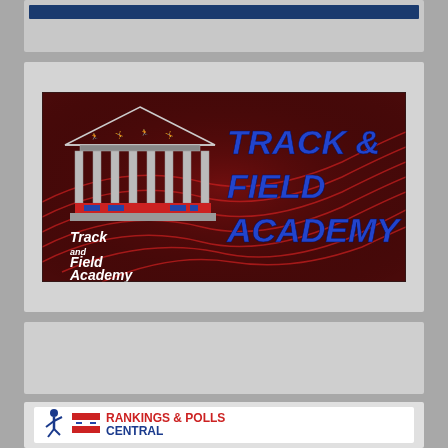[Figure (logo): Partial dark blue banner at top, partially cropped]
[Figure (logo): Track and Field Academy logo banner: dark red/maroon background with red swirl track lanes, white classical building/temple logo on left with 'Track and Field Academy' in white text, and large bold italic blue text 'TRACK & FIELD ACADEMY' on the right]
[Figure (other): Gray blank card/placeholder]
[Figure (logo): Rankings & Polls Central logo: white background with athlete figure icon, US Track & Field and Cross Country small logo, and bold red text 'RANKINGS & POLLS' with blue text 'CENTRAL']